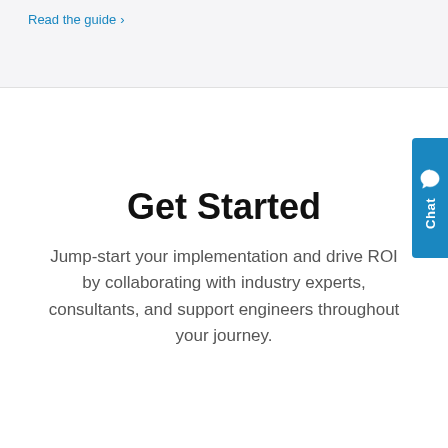Read the guide ›
Get Started
Jump-start your implementation and drive ROI by collaborating with industry experts, consultants, and support engineers throughout your journey.